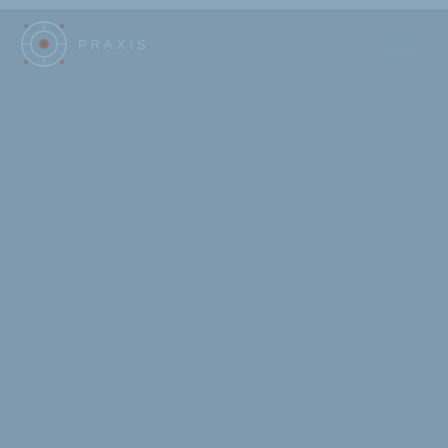[Figure (logo): Praxis logo with circular target/crosshair SVG icon and PRAXIS text in spaced uppercase letters]
[Figure (other): Hamburger menu icon with three horizontal lines in the top-right corner]